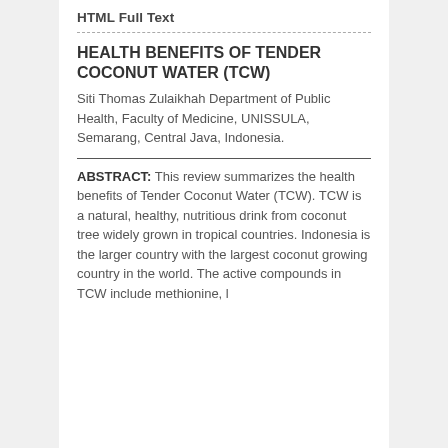HTML Full Text
HEALTH BENEFITS OF TENDER COCONUT WATER (TCW)
Siti Thomas Zulaikhah Department of Public Health, Faculty of Medicine, UNISSULA, Semarang, Central Java, Indonesia.
ABSTRACT: This review summarizes the health benefits of Tender Coconut Water (TCW). TCW is a natural, healthy, nutritious drink from coconut tree widely grown in tropical countries. Indonesia is the larger country with the largest coconut growing country in the world. The active compounds in TCW include methionine, l